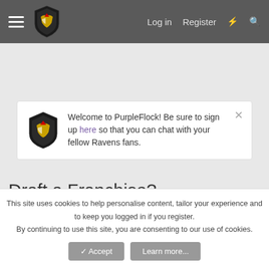PurpleFlock - Log in  Register
Welcome to PurpleFlock! Be sure to sign up here so that you can chat with your fellow Ravens fans.
< Fantasy Talk
Draft a Franchise?
29BmoreBird22 · May 14, 2017
This site uses cookies to help personalise content, tailor your experience and to keep you logged in if you register.
By continuing to use this site, you are consenting to our use of cookies.